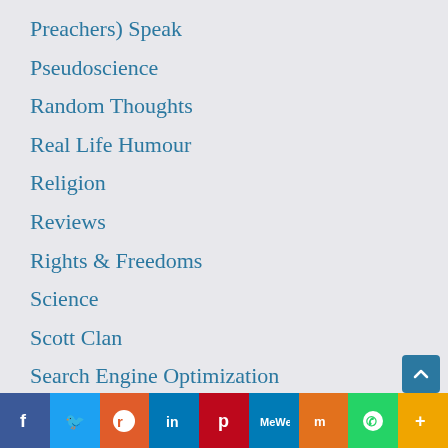Preachers) Speak
Pseudoscience
Random Thoughts
Real Life Humour
Religion
Reviews
Rights & Freedoms
Science
Scott Clan
Search Engine Optimization